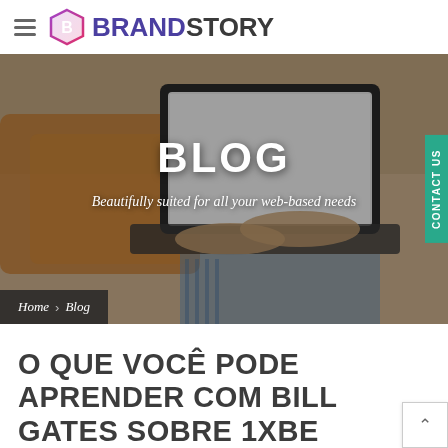BRAND STORY
[Figure (photo): Hero image showing a person lying on a bed using a laptop computer, viewed from above. Overlay text reads BLOG with subtitle 'Beautifully suited for all your web-based needs'. Breadcrumb: Home > Blog. Contact Us vertical tab on right.]
O QUE VOCÊ PODE APRENDER COM BILL GATES SOBRE 1XBE